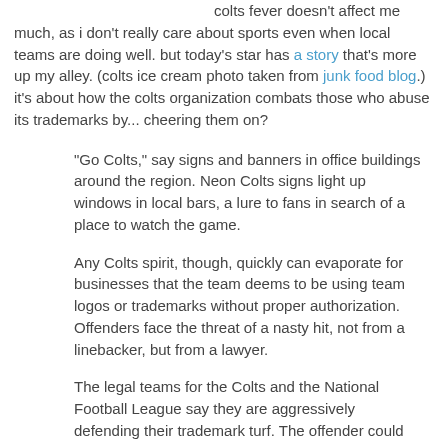colts fever doesn't affect me much, as i don't really care about sports even when local teams are doing well. but today's star has a story that's more up my alley. (colts ice cream photo taken from junk food blog.) it's about how the colts organization combats those who abuse its trademarks by... cheering them on?
"Go Colts," say signs and banners in office buildings around the region. Neon Colts signs light up windows in local bars, a lure to fans in search of a place to watch the game.
Any Colts spirit, though, quickly can evaporate for businesses that the team deems to be using team logos or trademarks without proper authorization. Offenders face the threat of a nasty hit, not from a linebacker, but from a lawyer.
The legal teams for the Colts and the National Football League say they are aggressively defending their trademark turf. The offender could